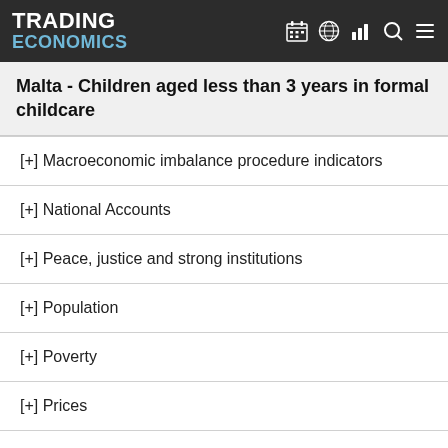TRADING ECONOMICS
Malta - Children aged less than 3 years in formal childcare
[+] Macroeconomic imbalance procedure indicators
[+] National Accounts
[+] Peace, justice and strong institutions
[+] Population
[+] Poverty
[+] Prices
[+] Private sector
[+] Research and development